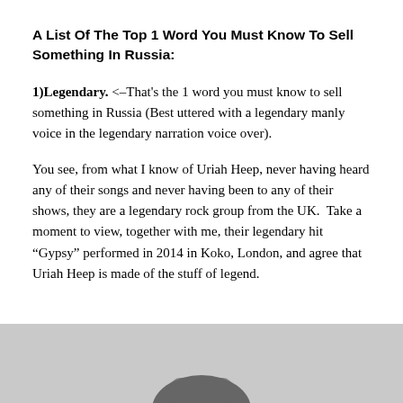A List Of The Top 1 Word You Must Know To Sell Something In Russia:
1)Legendary. <–That's the 1 word you must know to sell something in Russia (Best uttered with a legendary manly voice in the legendary narration voice over).
You see, from what I know of Uriah Heep, never having heard any of their songs and never having been to any of their shows, they are a legendary rock group from the UK.  Take a moment to view, together with me, their legendary hit “Gypsy” performed in 2014 in Koko, London, and agree that Uriah Heep is made of the stuff of legend.
[Figure (photo): Partial image of what appears to be a dark object (possibly a guitar or music equipment) against a light gray background, visible at the bottom of the page.]